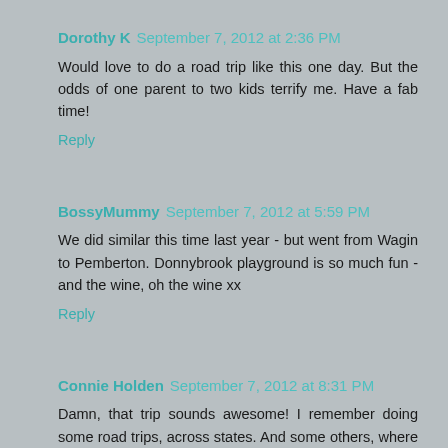Dorothy K  September 7, 2012 at 2:36 PM
Would love to do a road trip like this one day. But the odds of one parent to two kids terrify me. Have a fab time!
Reply
BossyMummy  September 7, 2012 at 5:59 PM
We did similar this time last year - but went from Wagin to Pemberton. Donnybrook playground is so much fun - and the wine, oh the wine xx
Reply
Connie Holden  September 7, 2012 at 8:31 PM
Damn, that trip sounds awesome! I remember doing some road trips, across states. And some others, where I was far too little to either care or